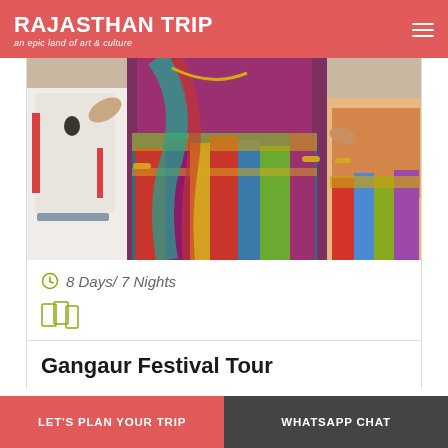RAJASTHAN TRIP — an epic land of art & culture
[Figure (photo): Colorful Rajasthani dancers in traditional costume performing at the Gangaur Festival, with elaborate embroidered garments and jewelry.]
8 Days/ 7 Nights
[Figure (illustration): Map/route icon in olive green outline style]
Gangaur Festival Tour
LET'S PLAN YOUR TRIP | WHATSAPP CHAT